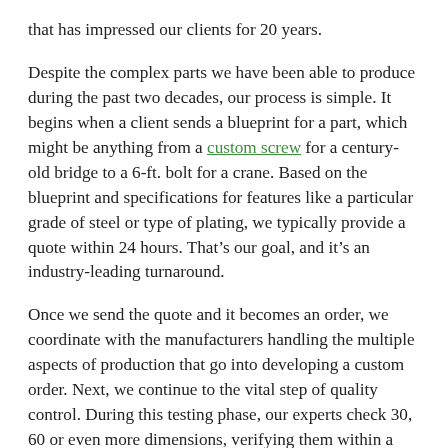that has impressed our clients for 20 years.
Despite the complex parts we have been able to produce during the past two decades, our process is simple. It begins when a client sends a blueprint for a part, which might be anything from a custom screw for a century-old bridge to a 6-ft. bolt for a crane. Based on the blueprint and specifications for features like a particular grade of steel or type of plating, we typically provide a quote within 24 hours. That’s our goal, and it’s an industry-leading turnaround.
Once we send the quote and it becomes an order, we coordinate with the manufacturers handling the multiple aspects of production that go into developing a custom order. Next, we continue to the vital step of quality control. During this testing phase, our experts check 30, 60 or even more dimensions, verifying them within a tolerance range. Only after all quality measures have been approved do we package the order. Along with the parts, we send certification that all